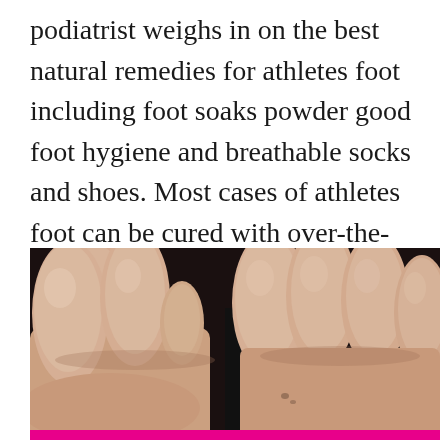podiatrist weighs in on the best natural remedies for athletes foot including foot soaks powder good foot hygiene and breathable socks and shoes. Most cases of athletes foot can be cured with over-the-counter antifungal products and basic good.
[Figure (photo): Close-up photograph of human toes from below (sole view), showing two feet with toes spread, against a dark background. A bright magenta/pink bar is visible at the very bottom edge.]